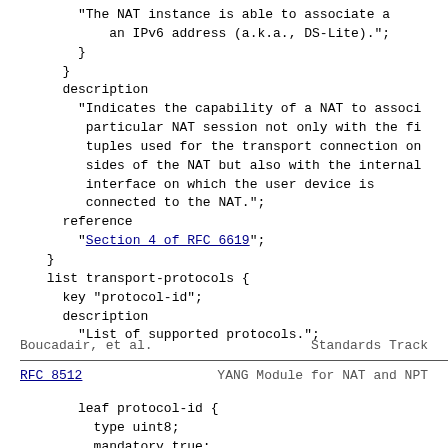"The NAT instance is able to associate a
              an IPv6 address (a.k.a., DS-Lite).";
          }
        }
        description
          "Indicates the capability of a NAT to associ
           particular NAT session not only with the fi
           tuples used for the transport connection on
           sides of the NAT but also with the internal
           interface on which the user device is
           connected to the NAT.";
        reference
          "Section 4 of RFC 6619";
      }
      list transport-protocols {
        key "protocol-id";
        description
          "List of supported protocols.";
Boucadair, et al.                Standards Track
RFC 8512                YANG Module for NAT and NPT
leaf protocol-id {
            type uint8;
            mandatory true;